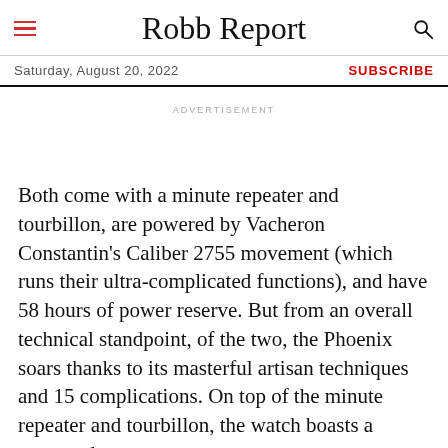Robb Report
Saturday, August 20, 2022  SUBSCRIBE
ADVERTISEMENT
Both come with a minute repeater and tourbillon, are powered by Vacheron Constantin's Caliber 2755 movement (which runs their ultra-complicated functions), and have 58 hours of power reserve. But from an overall technical standpoint, of the two, the Phoenix soars thanks to its masterful artisan techniques and 15 complications. On top of the minute repeater and tourbillon, the watch boasts a perpetual